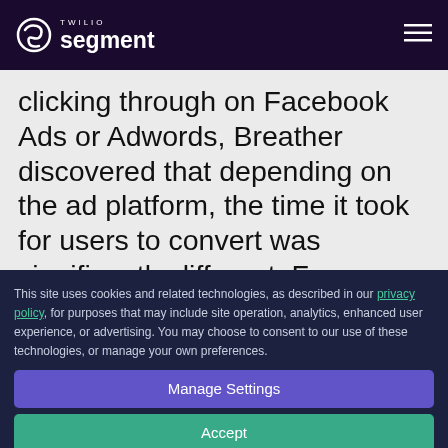TWILIO segment
clicking through on Facebook Ads or Adwords, Breather discovered that depending on the ad platform, the time it took for users to convert was significantly different. From there, Trudeau and his
This site uses cookies and related technologies, as described in our privacy policy, for purposes that may include site operation, analytics, enhanced user experience, or advertising. You may choose to consent to our use of these technologies, or manage your own preferences.
Manage Settings
Accept
Decline All